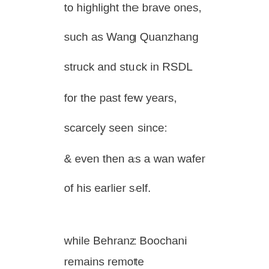to highlight the brave ones,
such as Wang Quanzhang
struck and stuck in RSDL
for the past few years,
scarcely seen since:
& even then as a wan wafer
of his earlier self.
while Behranz Boochani
remains remote